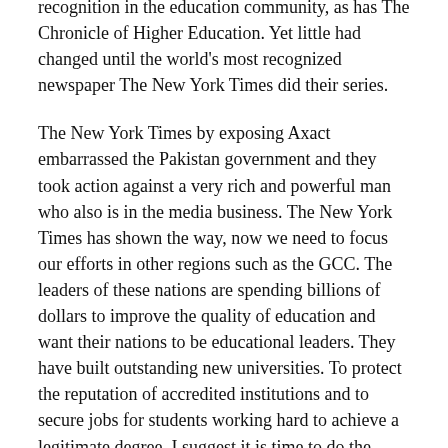Panar did a series of stories, which received wide recognition in the education community, as has The Chronicle of Higher Education. Yet little had changed until the world's most recognized newspaper The New York Times did their series.
The New York Times by exposing Axact embarrassed the Pakistan government and they took action against a very rich and powerful man who also is in the media business. The New York Times has shown the way, now we need to focus our efforts in other regions such as the GCC. The leaders of these nations are spending billions of dollars to improve the quality of education and want their nations to be educational leaders. They have built outstanding new universities. To protect the reputation of accredited institutions and to secure jobs for students working hard to achieve a legitimate degree, I suggest it is time to do the following: